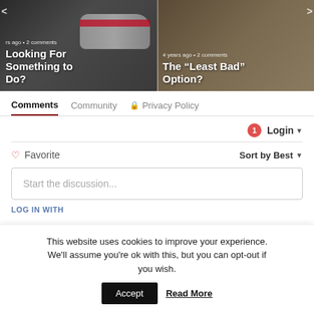[Figure (screenshot): Two article card thumbnails side by side in a carousel. Left card shows a racing car with text 'Looking For Something to Do?'. Right card shows an outdoor/courtyard scene with text '4 years ago • 2 comments' and 'The "Least Bad" Option?'. Navigation arrows on left and right edges.]
Comments
Community
🔒 Privacy Policy
1  Login ▾
♡ Favorite
Sort by Best ▾
Start the discussion...
LOG IN WITH
This website uses cookies to improve your experience. We'll assume you're ok with this, but you can opt-out if you wish.
Accept
Read More